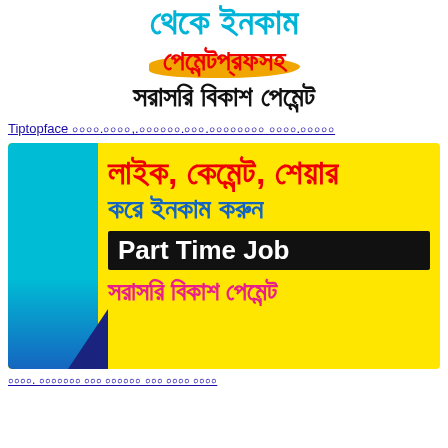থেকে ইনকাম পেমেন্টপ্রফসহ সরাসরি বিকাশ পেমেন্ট
Tiptopface ০০০০.০০০০,.০০০০০০.০০০.০০০০০০০০ ০০০০.০০০০০
[Figure (infographic): Yellow banner with Bengali text: লাইক, কেমেন্ট, শেয়ার করে ইনকাম করুন, Part Time Job, সরাসরি বিকাশ পেমেন্ট. Blue decorative bar on left side.]
০০০০. ০০০০০০০ ০০০ ০০০০০০ ০০০ ০০০০ ০০০০